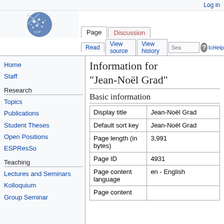Log in
[Figure (logo): Wikipedia-style wiki logo with blue circle, dots, and geometric lines]
Information for "Jean-Noël Grad"
Basic information
|  |  |
| --- | --- |
| Display title | Jean-Noël Grad |
| Default sort key | Jean-Noël Grad |
| Page length (in bytes) | 3,991 |
| Page ID | 4931 |
| Page content language | en - English |
| Page content |  |
Home
Staff
Research
Topics
Publications
Student Theses
Open Positions
ESPResSo
Teaching
Lectures and Seminars
Kolloquium
Group Seminar